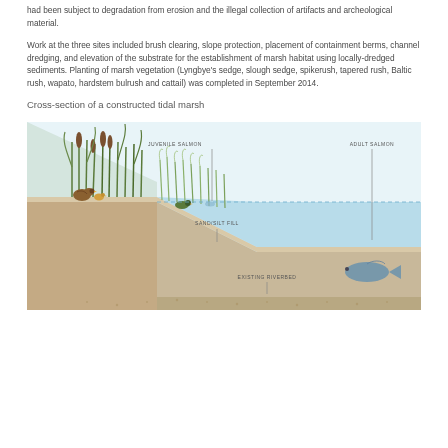had been subject to degradation from erosion and the illegal collection of artifacts and archeological material.
Work at the three sites included brush clearing, slope protection, placement of containment berms, channel dredging, and elevation of the substrate for the establishment of marsh habitat using locally-dredged sediments. Planting of marsh vegetation (Lyngbye's sedge, slough sedge, spikerush, tapered rush, Baltic rush, wapato, hardstem bulrush and cattail) was completed in September 2014.
Cross-section of a constructed tidal marsh
[Figure (illustration): Cross-section diagram of a constructed tidal marsh showing: marsh vegetation (reeds, cattails) on an elevated embankment on the left with ducks; a sloped sand/silt fill substrate; water level; juvenile salmon labeled in the shallower water area; adult salmon labeled in the deeper open water on the right. Labels include JUVENILE SALMON, ADULT SALMON, SAND/SILT FILL, and EXISTING RIVERBED.]